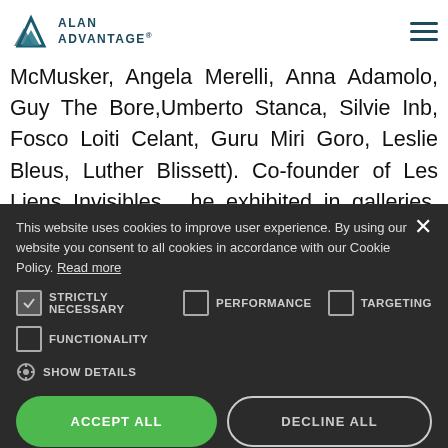[Figure (logo): Alan Advantage logo with triangular mountain-like mark and text 'ALAN ADVANTAGE']
McMusker, Angela Merelli, Anna Adamolo, Guy The Bore,Umberto Stanca, Silvie Inb, Fosco Loiti Celant, Guru Miri Goro, Leslie Bleus, Luther Blissett). Co-founder of Les Liens Invisibles , he exhibited in galleries, museums (MAXXI Rome, New School of New York, KUMU Art
This website uses cookies to improve user experience. By using our website you consent to all cookies in accordance with our Cookie Policy. Read more
STRICTLY NECESSARY   PERFORMANCE   TARGETING
FUNCTIONALITY
SHOW DETAILS
ACCEPT ALL   DECLINE ALL